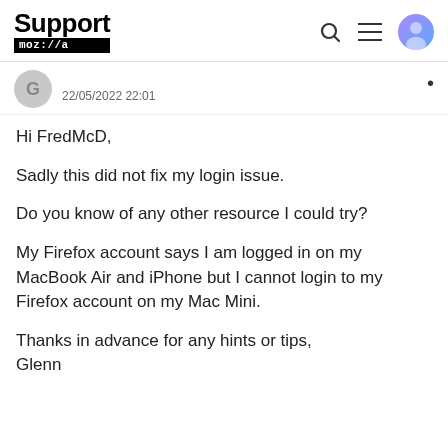Support mozilla//a
22/05/2022 22:01
Hi FredMcD,

Sadly this did not fix my login issue.

Do you know of any other resource I could try?

My Firefox account says I am logged in on my MacBook Air and iPhone but I cannot login to my Firefox account on my Mac Mini.

Thanks in advance for any hints or tips,
Glenn